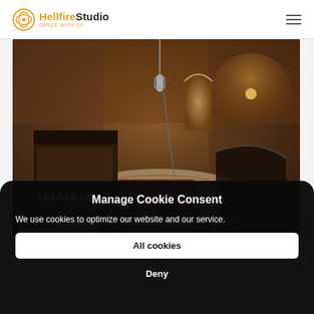Hellfire Studio — Dance With Us
[Figure (photo): Interior of a music recording studio with upright piano on left, red sofa in center, grand piano in background right, ornate rug on floor, stone walls, arched window, microphone hanging from ceiling, warm ambient lighting.]
Manage Cookie Consent
We use cookies to optimize our website and our service.
All cookies
Deny